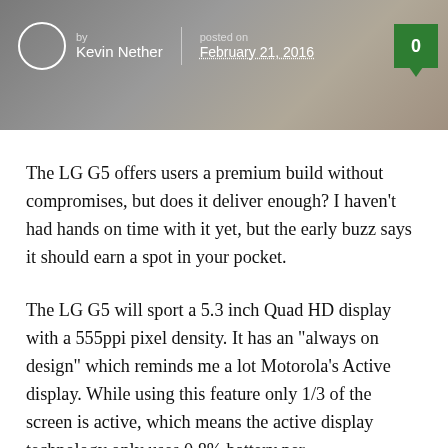[Figure (photo): Header image showing LG smartphones in various colors (gold/beige tones) with a dark background. LG logo visible in top right corner. Author byline and date overlay on the image.]
by Kevin Nether | posted on February 21, 2016  [0 comments]
The LG G5 offers users a premium build without compromises, but does it deliver enough? I haven’t had hands on time with it yet, but the early buzz says it should earn a spot in your pocket.
The LG G5 will sport a 5.3 inch Quad HD display with a 555ppi pixel density. It has an “always on design” which reminds me a lot Motorola’s Active display. While using this feature only 1/3 of the screen is active, which means the active display technology only uses 0.8% battery per